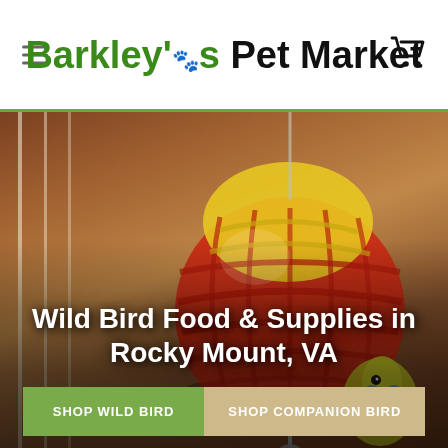Barkley's Pet Market
[Figure (photo): Close-up photo of a red and yellow plastic lattice ball bird toy hanging with a metal ring and bell, with a yellow and green budgie/parakeet visible in the lower right corner, against a warm brown blurred background.]
Wild Bird Food & Supplies in Rocky Mount, VA
SHOP WILD BIRD
SHOP COMPANION BIRD